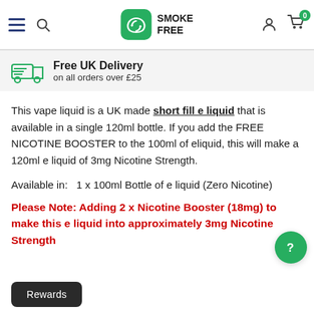Smoke Free — navigation bar with hamburger menu, search, logo, account, and cart (0 items)
Free UK Delivery on all orders over £25
This vape liquid is a UK made short fill e liquid that is available in a single 120ml bottle. If you add the FREE NICOTINE BOOSTER to the 100ml of eliquid, this will make a 120ml e liquid of 3mg Nicotine Strength.
Available in:   1 x 100ml Bottle of e liquid (Zero Nicotine)
Please Note: Adding 2 x Nicotine Booster (18mg) to make this e liquid into approximately 3mg Nicotine Strength